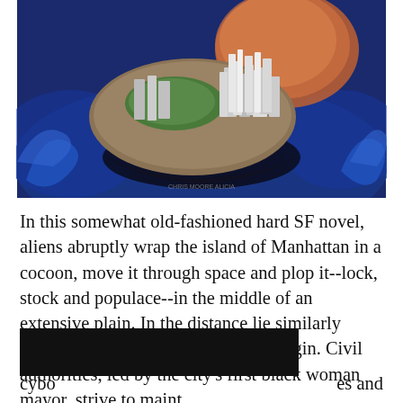[Figure (illustration): Science fiction book cover art showing an aerial view of Manhattan island lifted into space, surrounded by swirling blue cosmic energy and water, with a large orange/red celestial body in the background. A small watermark-style text is visible at the bottom center of the image.]
In this somewhat old-fashioned hard SF novel, aliens abruptly wrap the island of Manhattan in a cocoon, move it through space and plop it--lock, stock and populace--in the middle of an extensive plain. In the distance lie similarly transported communities, of alien origin. Civil authorities, led by the city's first black woman mayor, strive to maint[REDACTED] cybo[REDACTED]es and